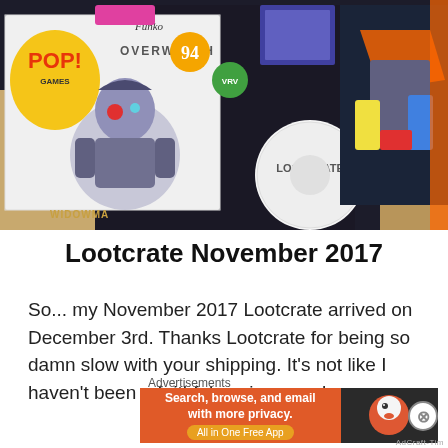[Figure (photo): Photo of an open Lootcrate box containing a Funko Pop! Overwatch Widowmaker figure (#94), a Loot Crate disc/coaster, colorful merchandise including what appears to be a gaming-themed t-shirt or mousepad with robot/mech imagery.]
Lootcrate November 2017
So... my November 2017 Lootcrate arrived on December 3rd. Thanks Lootcrate for being so damn slow with your shipping. It's not like I haven't been a faithful paying membe
Advertisements
[Figure (screenshot): DuckDuckGo advertisement banner: orange section with white text 'Search, browse, and email with more privacy. All in One Free App' and dark section with DuckDuckGo logo/icon.]